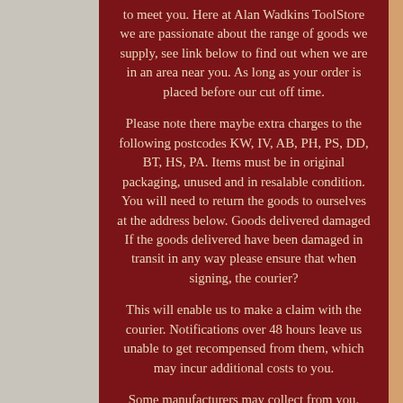to meet you. Here at Alan Wadkins ToolStore we are passionate about the range of goods we supply, see link below to find out when we are in an area near you. As long as your order is placed before our cut off time.

Please note there maybe extra charges to the following postcodes KW, IV, AB, PH, PS, DD, BT, HS, PA. Items must be in original packaging, unused and in resalable condition. You will need to return the goods to ourselves at the address below. Goods delivered damaged If the goods delivered have been damaged in transit in any way please ensure that when signing, the courier?

This will enable us to make a claim with the courier. Notifications over 48 hours leave us unable to get recompensed from them, which may incur additional costs to you.

Some manufacturers may collect from you. Makita, Metabo, Hitachi, Stihl and Viking